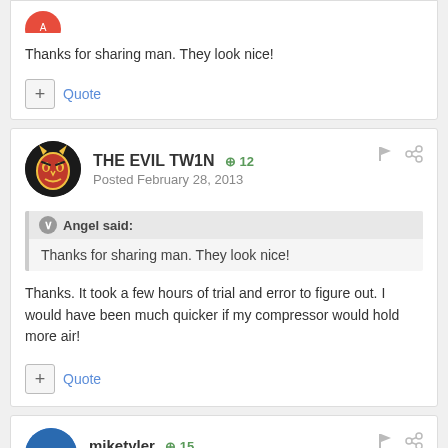Thanks for sharing man. They look nice!
+ Quote
THE EVIL TW1N  +12
Posted February 28, 2013
Angel said:
Thanks for sharing man. They look nice!
Thanks. It took a few hours of trial and error to figure out. I would have been much quicker if my compressor would hold more air!
+ Quote
miketyler  +15
Posted February 28, 2013